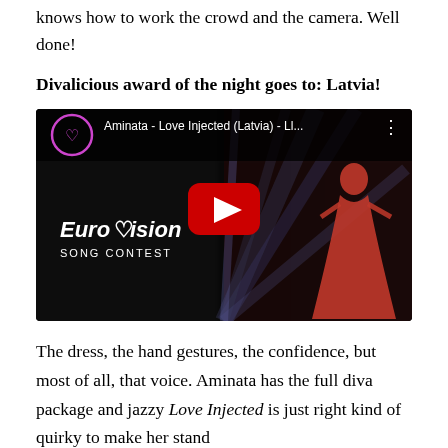knows how to work the crowd and the camera. Well done!
Divalicious award of the night goes to: Latvia!
[Figure (screenshot): YouTube video thumbnail showing Aminata performing at Eurovision Song Contest. Title reads 'Aminata - Love Injected (Latvia) - Ll...' with Eurovision Song Contest branding and a red YouTube play button overlay. A woman in a red dress is visible on stage with dramatic lighting.]
The dress, the hand gestures, the confidence, but most of all, that voice. Aminata has the full diva package and jazzy Love Injected is just right kind of quirky to make her stand